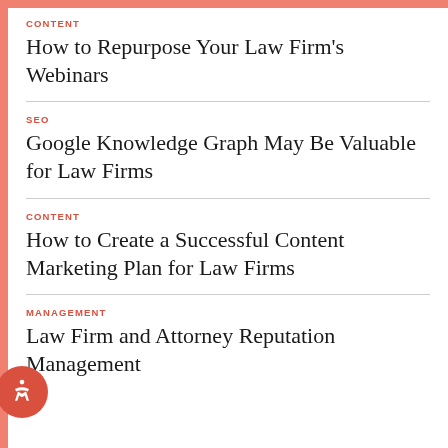CONTENT
How to Repurpose Your Law Firm's Webinars
SEO
Google Knowledge Graph May Be Valuable for Law Firms
CONTENT
How to Create a Successful Content Marketing Plan for Law Firms
MANAGEMENT
Law Firm and Attorney Reputation Management